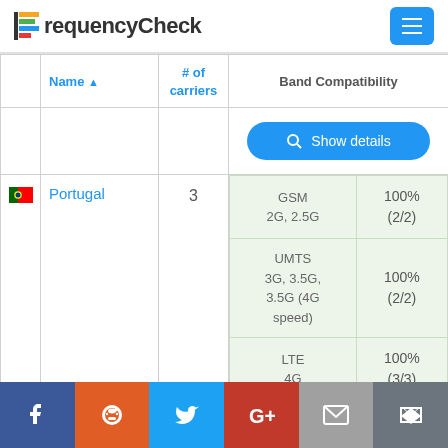FrequencyCheck
|  | Name ▲ | # of carriers | Band Compatibility |
| --- | --- | --- | --- |
|  |  |  | Show details |
| 🇵🇹 | Portugal | 3 | GSM 2G, 2.5G | 100% (2/2) | UMTS 3G, 3.5G, 3.5G (4G speed) | 100% (2/2) | LTE 4G | 100% (3/3) |
Facebook | Reddit | Twitter | Google+ | Email | Kippt